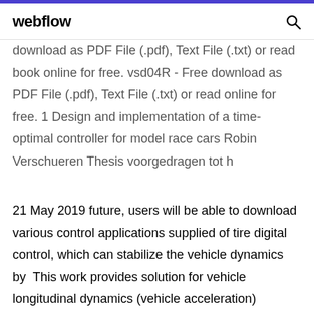webflow
download as PDF File (.pdf), Text File (.txt) or read book online for free. vsd04R - Free download as PDF File (.pdf), Text File (.txt) or read online for free. 1 Design and implementation of a time-optimal controller for model race cars Robin Verschueren Thesis voorgedragen tot h
21 May 2019 future, users will be able to download various control applications supplied of tire digital control, which can stabilize the vehicle dynamics by  This work provides solution for vehicle longitudinal dynamics (vehicle acceleration) considering physical limits given by road, tire and vehicle dynamics